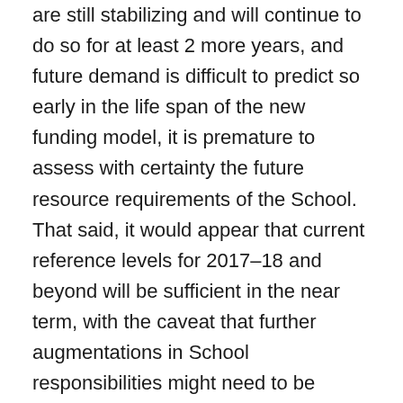are still stabilizing and will continue to do so for at least 2 more years, and future demand is difficult to predict so early in the life span of the new funding model, it is premature to assess with certainty the future resource requirements of the School. That said, it would appear that current reference levels for 2017–18 and beyond will be sufficient in the near term, with the caveat that further augmentations in School responsibilities might need to be accompanied by additional funding.
Since its establishment in 2004, [8] the Canada School of Public Service operated